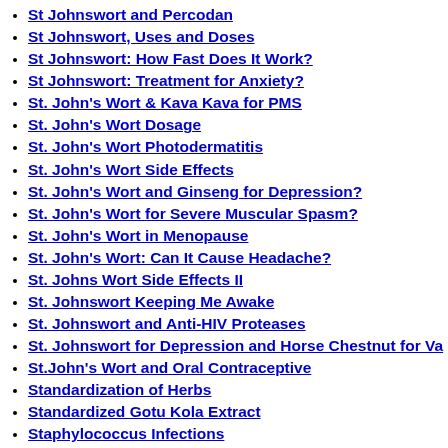St Johnswort and Percodan
St Johnswort, Uses and Doses
St Johnswort: How Fast Does It Work?
St Johnswort: Treatment for Anxiety?
St. John's Wort & Kava Kava for PMS
St. John's Wort Dosage
St. John's Wort Photodermatitis
St. John's Wort Side Effects
St. John's Wort and Ginseng for Depression?
St. John's Wort for Severe Muscular Spasm?
St. John's Wort in Menopause
St. John's Wort: Can It Cause Headache?
St. Johns Wort Side Effects II
St. Johnswort Keeping Me Awake
St. Johnswort and Anti-HIV Proteases
St. Johnswort for Depression and Horse Chestnut for Va
St.John's Wort and Oral Contraceptive
Standardization of Herbs
Standardized Gotu Kola Extract
Staphylococcus Infections
Statice Root for Lung Infection
Steam Inhalations for Colds and Coughs
Steroid Drug Detox and Side Effects of Activated Charco
Stevia Herb for Diabetes
Stevia in Candidasis and Diabetes
Stimulant Effect of Green Tea